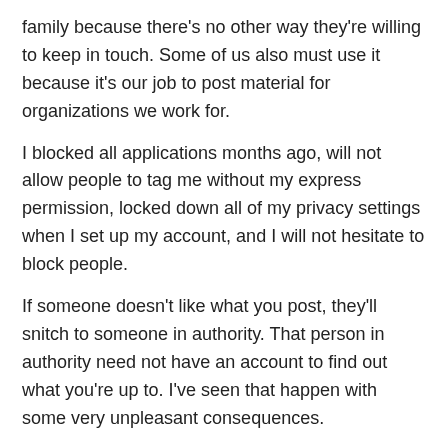family because there's no other way they're willing to keep in touch. Some of us also must use it because it's our job to post material for organizations we work for.
I blocked all applications months ago, will not allow people to tag me without my express permission, locked down all of my privacy settings when I set up my account, and I will not hesitate to block people.
If someone doesn't like what you post, they'll snitch to someone in authority. That person in authority need not have an account to find out what you're up to. I've seen that happen with some very unpleasant consequences.
You cannot be too careful. Be discreet with what you post, and that means everywhere on the Internet, not just Facebook.
Sorry for the overly long answer. Most of you know all of this,